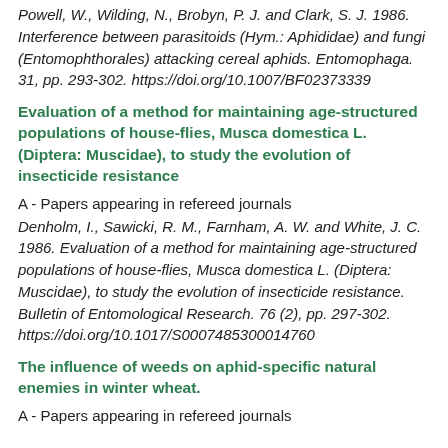Powell, W., Wilding, N., Brobyn, P. J. and Clark, S. J. 1986. Interference between parasitoids (Hym.: Aphididae) and fungi (Entomophthorales) attacking cereal aphids. Entomophaga. 31, pp. 293-302. https://doi.org/10.1007/BF02373339
Evaluation of a method for maintaining age-structured populations of house-flies, Musca domestica L. (Diptera: Muscidae), to study the evolution of insecticide resistance
A - Papers appearing in refereed journals
Denholm, I., Sawicki, R. M., Farnham, A. W. and White, J. C. 1986. Evaluation of a method for maintaining age-structured populations of house-flies, Musca domestica L. (Diptera: Muscidae), to study the evolution of insecticide resistance. Bulletin of Entomological Research. 76 (2), pp. 297-302. https://doi.org/10.1017/S0007485300014760
The influence of weeds on aphid-specific natural enemies in winter wheat.
A - Papers appearing in refereed journals